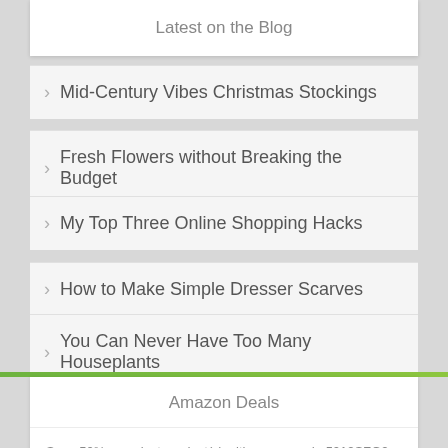Latest on the Blog
Mid-Century Vibes Christmas Stockings
Fresh Flowers without Breaking the Budget
My Top Three Online Shopping Hacks
How to Make Simple Dresser Scarves
You Can Never Have Too Many Houseplants
Amazon Deals
Save 50% on select product(s) with promo code 5012SZG2 on Amazon.com